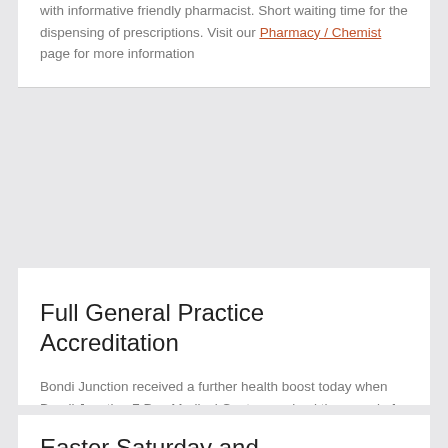with informative friendly pharmacist. Short waiting time for the dispensing of prescriptions. Visit our Pharmacy / Chemist page for more information
Full General Practice Accreditation
Bondi Junction received a further health boost today when Bondi Junction 7 Day Medical Centre received the award of accreditation, demonstrating the quality and safety of their practice.
View PDF.
Easter Saturday and...